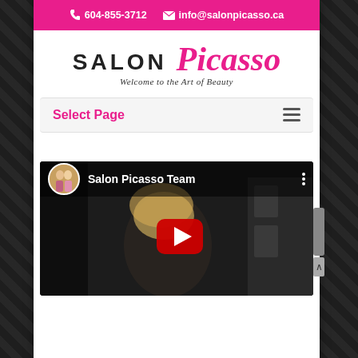📞 604-855-3712   ✉ info@salonpicasso.ca
[Figure (logo): Salon Picasso logo — word SALON in black uppercase, Picasso in pink italic script, tagline Welcome to the Art of Beauty]
Select Page
[Figure (screenshot): YouTube video thumbnail for Salon Picasso Team video, showing a blonde woman in a dark salon setting with a red play button overlay. Channel avatar shows two women in formal wear.]